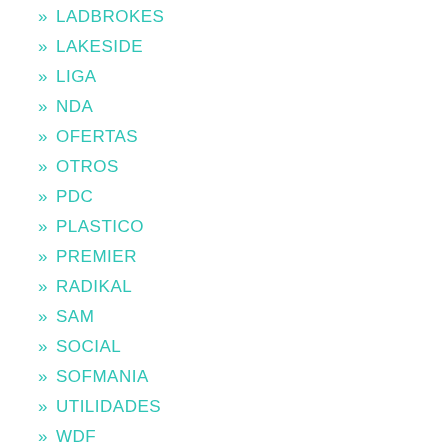» LADBROKES
» LAKESIDE
» LIGA
» NDA
» OFERTAS
» OTROS
» PDC
» PLASTICO
» PREMIER
» RADIKAL
» SAM
» SOCIAL
» SOFMANIA
» UTILIDADES
» WDF
» WEBMASTER